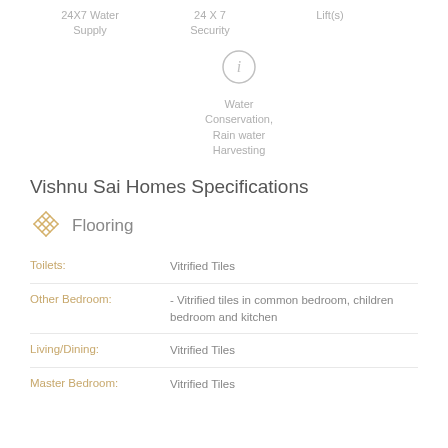24X7 Water Supply
24 X 7 Security
Lift(s)
[Figure (illustration): Information icon - circle with letter i]
Water Conservation, Rain water Harvesting
Vishnu Sai Homes Specifications
[Figure (illustration): Flooring pattern icon - crossed lines design]
Flooring
Toilets: Vitrified Tiles
Other Bedroom: - Vitrified tiles in common bedroom, children bedroom and kitchen
Living/Dining: Vitrified Tiles
Master Bedroom: Vitrified Tiles